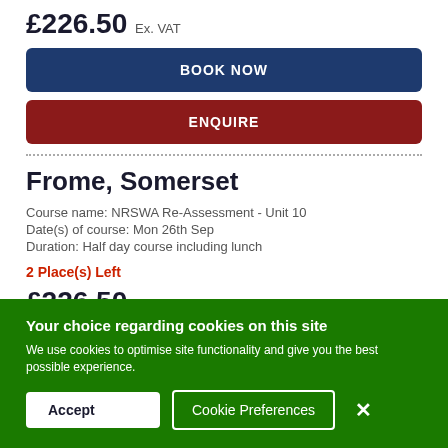£226.50 Ex. VAT
BOOK NOW
ENQUIRE
Frome, Somerset
Course name: NRSWA Re-Assessment - Unit 10
Date(s) of course: Mon 26th Sep
Duration: Half day course including lunch
2 Place(s) Left
£226.50 Ex. VAT
BOOK NOW
ENQUIRE
Your choice regarding cookies on this site
We use cookies to optimise site functionality and give you the best possible experience.
Accept
Cookie Preferences
×